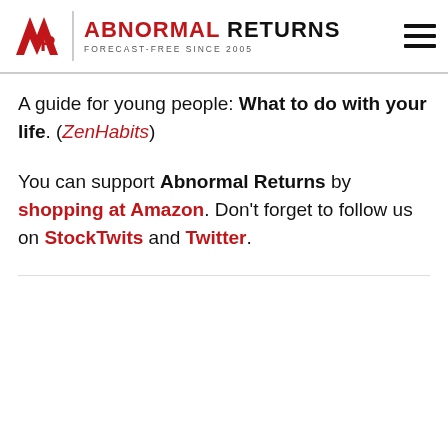Abnormal Returns – Forecast-Free Since 2005
A guide for young people: What to do with your life. (ZenHabits)
You can support Abnormal Returns by shopping at Amazon. Don't forget to follow us on StockTwits and Twitter.